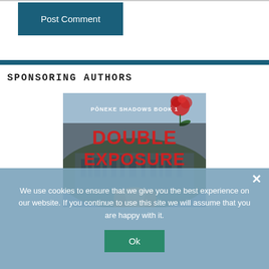[Figure (other): Post Comment button — dark teal rectangle with white text]
SPONSORING AUTHORS
[Figure (illustration): Book cover: Poneke Shadows Book 1 — Double Exposure. City skyline background, red pohutukawa flower, person with blonde hair in foreground. Red bold title text on dark overlay.]
We use cookies to ensure that we give you the best experience on our website. If you continue to use this site we will assume that you are happy with it.